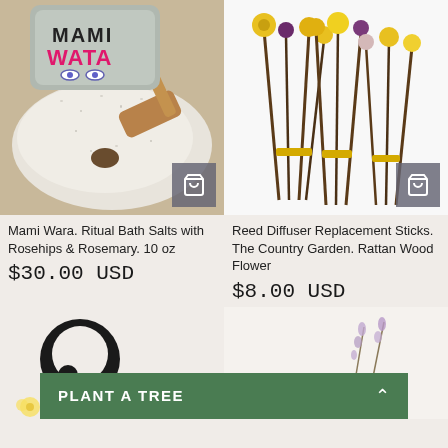[Figure (photo): Mami Wata branded container with ritual bath salts, rosehips, and a wooden scoop on a textured surface]
[Figure (photo): Reed diffuser replacement sticks bundled with dried flowers including yellow and purple blooms on white background]
Mami Wara. Ritual Bath Salts with Rosehips & Rosemary. 10 oz
$30.00 USD
Reed Diffuser Replacement Sticks. The Country Garden. Rattan Wood Flower
$8.00 USD
[Figure (photo): Black circular chat bubble icon on beige background, with chamomile flowers below]
[Figure (photo): Partial product image with lavender flowers on light background]
PLANT A TREE